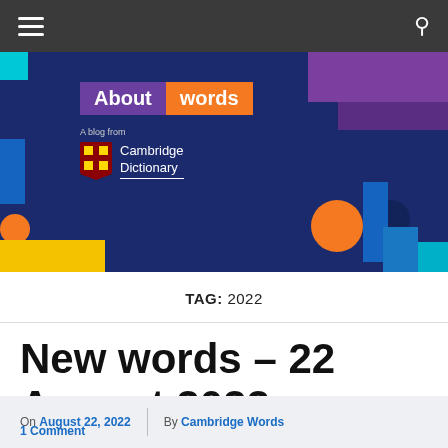Navigation bar with hamburger menu and search icon
[Figure (illustration): Cambridge Dictionary 'About words' blog banner with dark blue background, colorful geometric shapes, 'About words' logo badge in purple and orange, and Cambridge Dictionary logo with shield emblem.]
TAG: 2022
New words – 22 August 2022
On August 22, 2022 | By Cambridge Words 1 Comment